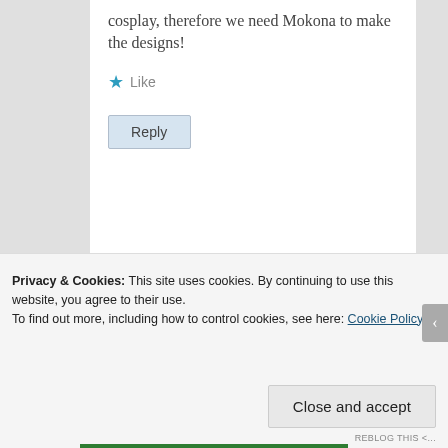cosplay, therefore we need Mokona to make the designs!
★ Like
Reply
Privacy & Cookies: This site uses cookies. By continuing to use this website, you agree to their use. To find out more, including how to control cookies, see here: Cookie Policy
Close and accept